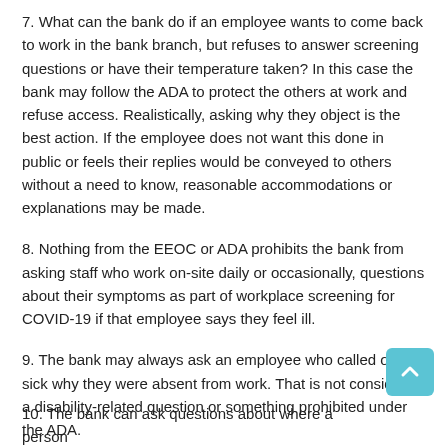7. What can the bank do if an employee wants to come back to work in the bank branch, but refuses to answer screening questions or have their temperature taken? In this case the bank may follow the ADA to protect the others at work and refuse access. Realistically, asking why they object is the best action. If the employee does not want this done in public or feels their replies would be conveyed to others without a need to know, reasonable accommodations or explanations may be made.
8. Nothing from the EEOC or ADA prohibits the bank from asking staff who work on-site daily or occasionally, questions about their symptoms as part of workplace screening for COVID-19 if that employee says they feel ill.
9. The bank may always ask an employee who called out sick why they were absent from work. That is not considered a disability-related question or something prohibited under the ADA.
10. The bank can ask questions about where a person...